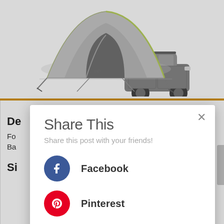[Figure (photo): Product photo of a gray dome camping tent with yellow-green accent strip, with a gray SUV/truck partially visible behind it, on a white background]
[Figure (screenshot): Share This modal dialog overlay on a webpage, showing social sharing options: Facebook, Pinterest, and Amazon, with a close X button in the top right]
Share This
Share this post with your friends!
Facebook
Pinterest
Amazon